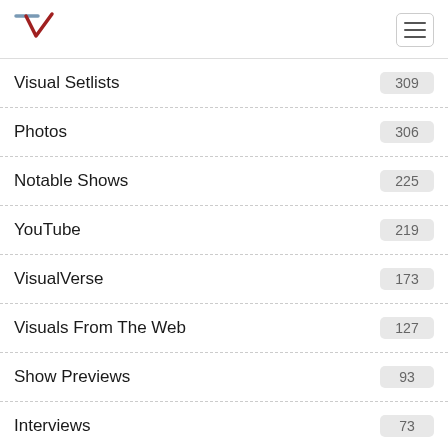Logo and navigation
Visual Setlists 309
Photos 306
Notable Shows 225
YouTube 219
VisualVerse 173
Visuals From The Web 127
Show Previews 93
Interviews 73